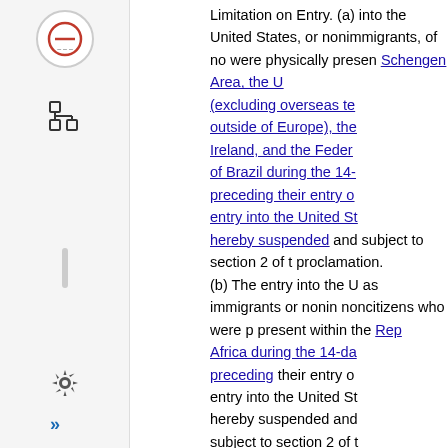[Figure (screenshot): Web browser sidebar UI with icons: no-entry circle icon, tree/hierarchy icon, vertical divider bar, gear/settings icon, and double right-arrow icon]
Limitation on Entry. (a) into the United States, or nonimmigrants, of noncitizens who were physically present in the Schengen Area, the United Kingdom (excluding overseas territories outside of Europe), the Republic of Ireland, and the Federative Republic of Brazil during the 14-day period preceding their entry or attempted entry into the United States is hereby suspended and subject to section 2 of this proclamation.
(b) The entry into the United States as immigrants or nonimmigrants of noncitizens who were physically present within the Republic of South Africa during the 14-day period preceding their entry or attempted entry into the United States is hereby suspended and subject to section 2 of this